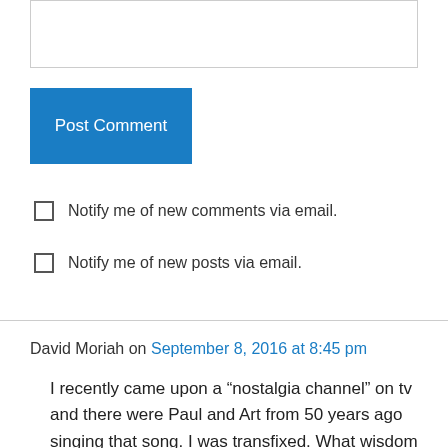[Figure (other): Text input textarea box (empty)]
Post Comment
Notify me of new comments via email.
Notify me of new posts via email.
David Moriah on September 8, 2016 at 8:45 pm
I recently came upon a “nostalgia channel” on tv and there were Paul and Art from 50 years ago singing that song. I was transfixed. What wisdom they had in penning those lyrics. The only thing they didn’t get right was how today we can still be vibrant and active going into our 8th decade!